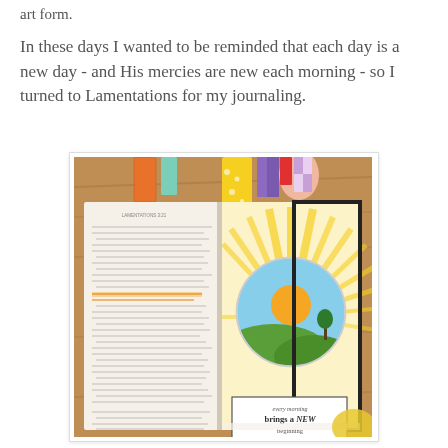art form.
In these days I wanted to be reminded that each day is a new day - and His mercies are new each morning - so I turned to Lamentations for my journaling.
[Figure (photo): Open Bible showing Lamentations with colorful bookmarks/tabs sticking out from the top. The right page has a decorative illustration with yellow sunburst rays in the background, a circular vignette showing a sunrise landscape with green hills and a tree, and a text label at the bottom reading 'every morning brings a NEW beginning'. Colorful washi tape tabs mark the pages. The Bible rests on a wooden surface.]